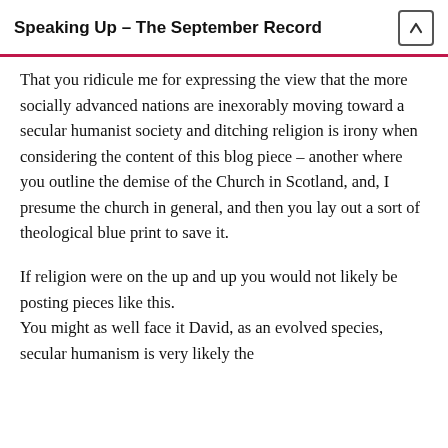Speaking Up – The September Record
That you ridicule me for expressing the view that the more socially advanced nations are inexorably moving toward a secular humanist society and ditching religion is irony when considering the content of this blog piece – another where you outline the demise of the Church in Scotland, and, I presume the church in general, and then you lay out a sort of theological blue print to save it.
If religion were on the up and up you would not likely be posting pieces like this.
You might as well face it David, as an evolved species, secular humanism is very likely the